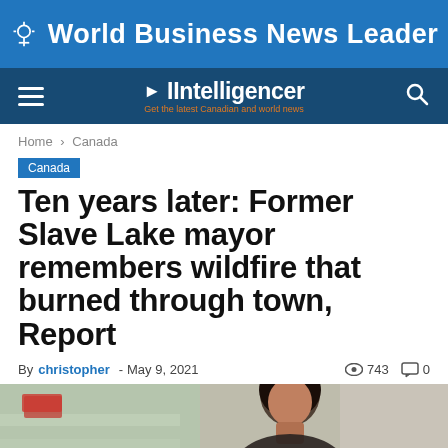World Business News Leader
IIntelligencer – Get the latest Canadian and world news
Home › Canada
Canada
Ten years later: Former Slave Lake mayor remembers wildfire that burned through town, Report
By christopher - May 9, 2021  743  0
[Figure (photo): Photo of a woman, partially visible, with blurred background showing shelves/products]